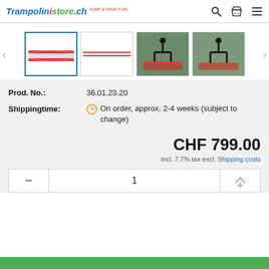TrampolinStore.ch
[Figure (screenshot): Product thumbnail gallery showing an air mat/gymnastics track. First thumbnail selected (red and white inflatable air track mat), second thumbnail showing side view, third thumbnail showing person doing handstand on mat, fourth thumbnail showing person doing handstand on mat outdoors.]
Prod. No.: 36.01.23.20
Shippingtime: On order, approx. 2-4 weeks (subject to change)
CHF 799.00
incl. 7.7% tax excl. Shipping costs